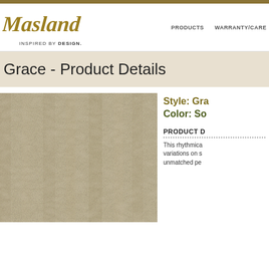[Figure (logo): Masland cursive logo with gold color and tagline INSPIRED BY DESIGN.]
PRODUCTS    WARRANTY/CARE
Grace - Product Details
[Figure (photo): Close-up photo of Grace carpet texture in soft beige/tan tones showing rhythmical pattern variations]
Style: Grace
Color: So
PRODUCT D
This rhythmica... variations on s... unmatched pe...